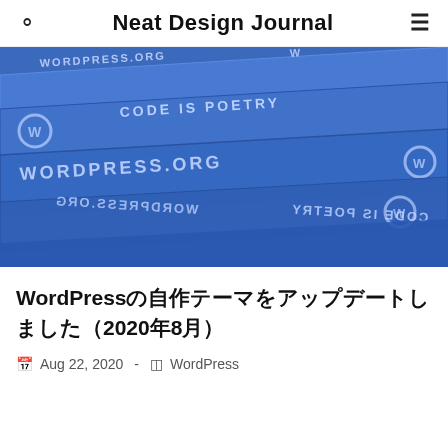Neat Design Journal
[Figure (photo): Blue WordPress lanyards with text 'WORDPRESS.ORG' and 'CODE IS POETRY' printed on them, some reversed/mirrored, on a blue background.]
WordPressの自作テーマをアップデートしました（2020年8月）
Aug 22, 2020  -  WordPress